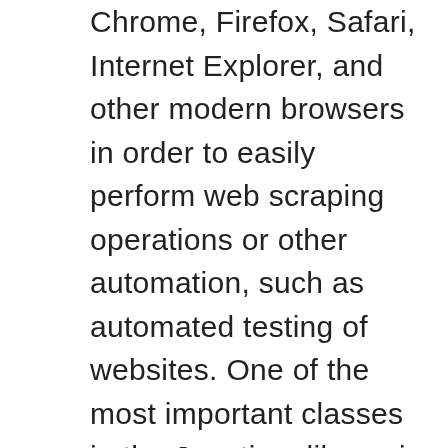Chrome, Firefox, Safari, Internet Explorer, and other modern browsers in order to easily perform web scraping operations or other automation, such as automated testing of websites. One of the most important classes in the Jauntium library is Browser, which represents a browser window. When the browser loads an HTML page, it creates a Document object. The Document object exposes the content as a searchable tree of Nodes, such as Elements, comments, and text. For